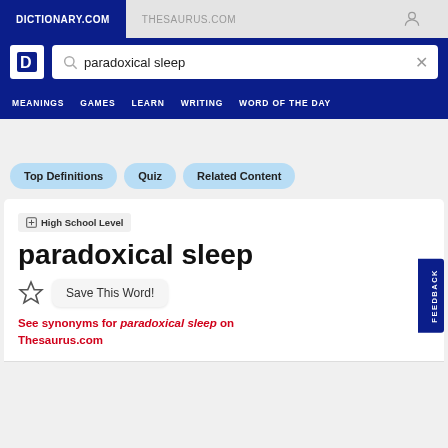DICTIONARY.COM | THESAURUS.COM
[Figure (screenshot): Dictionary.com logo and search bar with 'paradoxical sleep' query]
MEANINGS   GAMES   LEARN   WRITING   WORD OF THE DAY
Top Definitions
Quiz
Related Content
⊞ High School Level
paradoxical sleep
Save This Word!
See synonyms for paradoxical sleep on Thesaurus.com